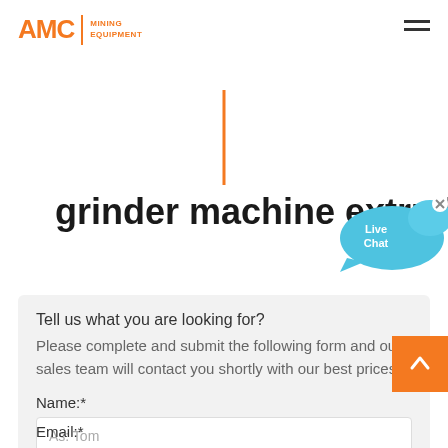AMC MINING EQUIPMENT
[Figure (other): Orange vertical decorative bar divider]
grinder machine extrud
[Figure (other): Live Chat speech bubble widget with blue bubble and fish icon, showing 'Live Chat' text and an X close button]
Tell us what you are looking for?
Please complete and submit the following form and our sales team will contact you shortly with our best prices.
Name:*
As: Tom
Email:*